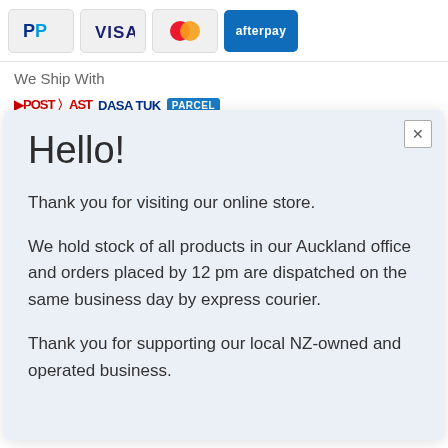[Figure (other): Payment method icons: PayPal, Visa, Mastercard, and Afterpay buttons shown at the top of the page]
We Ship With
[Figure (other): Shipping logos partially visible: POST, ARAMEX, and PARCEL branding]
Hello!
Thank you for visiting our online store.
We hold stock of all products in our Auckland office and orders placed by 12 pm are dispatched on the same business day by express courier.
Thank you for supporting our local NZ-owned and operated business.